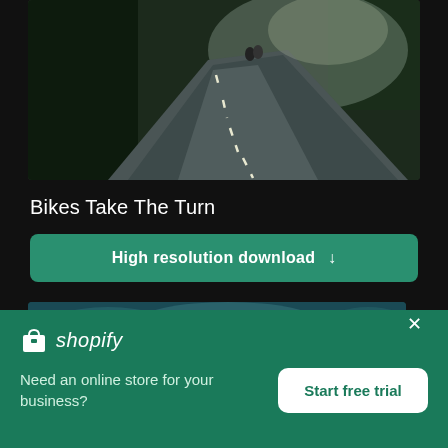[Figure (photo): A winding road with trees on either side and two cyclists visible in the distance. Dark moody lighting with dashed white center line.]
Bikes Take The Turn
High resolution download ↓
[Figure (photo): Aerial or close-up view of deep blue-green water surface with light reflections.]
[Figure (logo): Shopify logo with shopping bag icon and italic shopify text in white on green background]
Need an online store for your business?
Start free trial